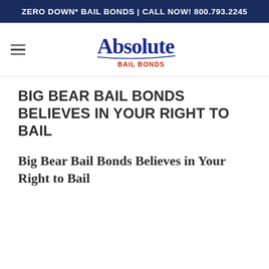ZERO DOWN* BAIL BONDS | CALL NOW! 800.793.2245
[Figure (logo): Absolute Bail Bonds logo in blue script lettering with red text underneath]
BIG BEAR BAIL BONDS BELIEVES IN YOUR RIGHT TO BAIL
Big Bear Bail Bonds Believes in Your Right to Bail